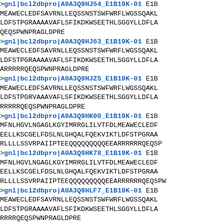>gnl|bcl2dbpro|A0A3Q9HJ54_E1B19K-01 E1B...
MEAWECLEDFSAVRNLLEQSSNSTSWFWRFLWGSSQAKL...
LDFSTPGRAAAAVAFLSFIKDKWSEETHLSGGYLLDFLA...
QEQSPWNPRAGLDPRE
>gnl|bcl2dbpro|A0A3Q9HJ63_E1B19K-01 E1B...
MEAWECLEDFSAVRNLLEQSSNSTSWFWRFLWGSSQAKL...
LDFSTPGRAAAAVAFLSFIKDKWSEETHLSGGYLLDFLA...
ARRRRRQEQSPWNPRAGLDPRE
>gnl|bcl2dbpro|A0A3Q9HJZ5_E1B19K-01 E1B...
MEAWECLEDFSAVRNLLEQSSNSTSWFWRFLWGSSQAKL...
LDFSTPGRVAAAVAFLSFIKDKWSEETHLSGGYLLDFLA...
RRRRRQEQSPWNPRAGLDPRE
>gnl|bcl2dbpro|A0A3Q9HK00_E1B19K-01 E1B...
MFNLHGVLNGAGLKGYIMRRGLILVTFDLMEAWECLEDF...
EELLKSCGELFDSLNLGHQALFQEKVIKTLDFSTPGRAA...
RLLLLSSVRPAIIPTEEQQQQQQQQQEEARRRRRRQEQSP...
>gnl|bcl2dbpro|A0A3Q9HK78_E1B19K-01 E1B...
MFNLHGVLNGAGLKGYIMRRGLILVTFDLMEAWECLEDF...
EELLKSCGELFDSLNLGHQALFQEKVIKTLDFSTPGRAA...
RLLLLSSVRPAIIPTEEQQQQQQQQQEEARRRRRRQEQSPW...
>gnl|bcl2dbpro|A0A3Q9HLF7_E1B19K-01 E1B...
MEAWECLEDFSAVRNLLEQSSNSTSWFWRFLWGSSQAKL...
LDFSTPGRAAAAVAFLSFIKDKWSEETHLSGGYLLDFLA...
RRRRQEQSPWNPRAGLDPRE
>gnl|bcl2dbpro|A0A3S9SND6_E1B19K-01 E1B...
MEAWECLEDFSAVRNLLEQSSNSTSWFWRFLWGSSQAKL...
LDFSTPGRAAAAVAFLSFIKDKWSEETHLSGGYLLDFLA...
RRRQEQSPWNPRAGLDPRE
>gnl|bcl2dbpro|A0A3S9SNH4_E1B19K-01 E1B...
MEAWECLEDFSAVRNLLEQSSNSTSWFWRFLWGSSQAKL...